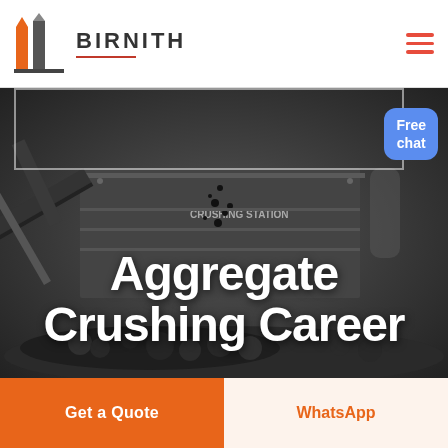[Figure (logo): Birnith company logo with orange building icon and company name in bold letters with red underline]
[Figure (photo): Industrial aggregate crushing station machinery with conveyor belts and piles of crushed stone/coal in dark tones]
Aggregate Crushing Career
Free chat
Get a Quote
WhatsApp